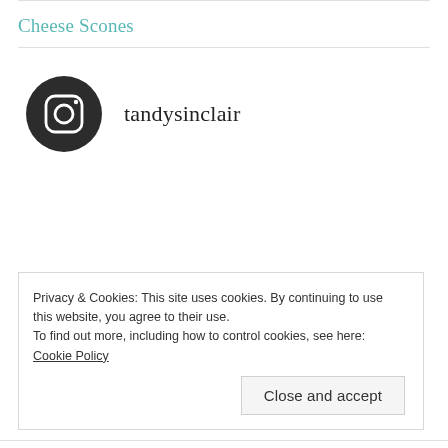Cheese Scones
[Figure (logo): Instagram icon (dark circle with camera outline) followed by username tandysinclair]
tandysinclair
Privacy & Cookies: This site uses cookies. By continuing to use this website, you agree to their use.
To find out more, including how to control cookies, see here: Cookie Policy
Close and accept